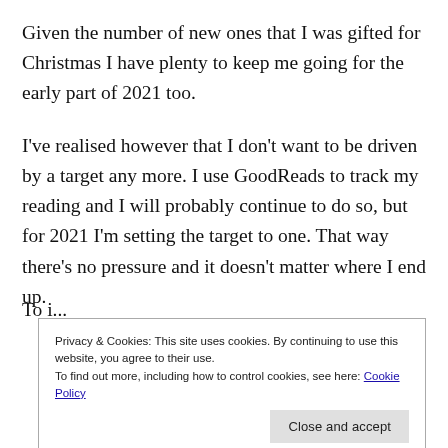Given the number of new ones that I was gifted for Christmas I have plenty to keep me going for the early part of 2021 too.
I've realised however that I don't want to be driven by a target any more. I use GoodReads to track my reading and I will probably continue to do so, but for 2021 I'm setting the target to one. That way there's no pressure and it doesn't matter where I end up.
To i...
Privacy & Cookies: This site uses cookies. By continuing to use this website, you agree to their use.
To find out more, including how to control cookies, see here: Cookie Policy
Close and accept